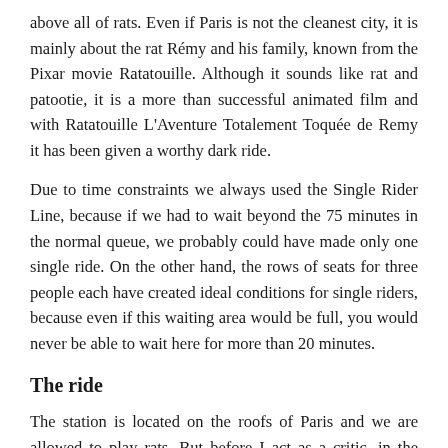above all of rats. Even if Paris is not the cleanest city, it is mainly about the rat Rémy and his family, known from the Pixar movie Ratatouille. Although it sounds like rat and patootie, it is a more than successful animated film and with Ratatouille L'Aventure Totalement Toquée de Remy it has been given a worthy dark ride.
Due to time constraints we always used the Single Rider Line, because if we had to wait beyond the 75 minutes in the normal queue, we probably could have made only one single ride. On the other hand, the rows of seats for three people each have created ideal conditions for single riders, because even if this waiting area would be full, you would never be able to wait here for more than 20 minutes.
The ride
The station is located on the roofs of Paris and we are allowed to play rats. But before I act as a critic, in the sense of Anton Ego, there is a summary of the trip. After the cars have left their starting position, it seems as if they are driving around randomly.